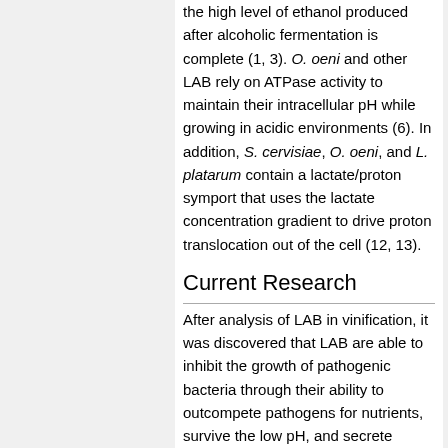the high level of ethanol produced after alcoholic fermentation is complete (1, 3). O. oeni and other LAB rely on ATPase activity to maintain their intracellular pH while growing in acidic environments (6). In addition, S. cervisiae, O. oeni, and L. platarum contain a lactate/proton symport that uses the lactate concentration gradient to drive proton translocation out of the cell (12, 13).
Current Research
After analysis of LAB in vinification, it was discovered that LAB are able to inhibit the growth of pathogenic bacteria through their ability to outcompete pathogens for nutrients, survive the low pH, and secrete antimicrobial compounds (4). It was previously thought that by inoculating O. oeni into raw food, food-borne pathogens including Escherichia coli O157:H7, Listeria monocytogenes, and Salmonella enteridis can be controlled (4). Chiang et al. (2012) tested the ability of O. oeni to inhibit the growth of these common pathogens and found that of the 24 strains of O. oeni tested, 17